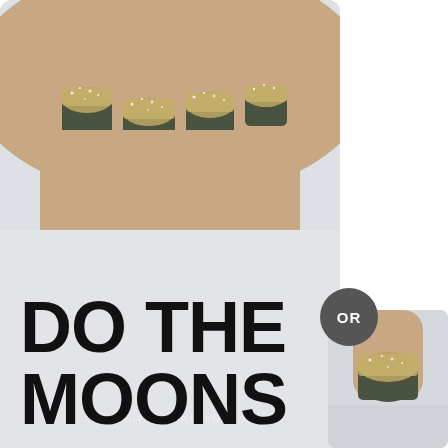[Figure (photo): Close-up photo of a hand with dark olive/charcoal nails with gold glitter tips (reverse French manicure / moon manicure style), displayed as a rounded-corner card on a light gray background. Watermark reads THEBEAUTYDEPARTMENT.COM]
[Figure (photo): Smaller photo on the right side showing a similar glitter-tip nail manicure, partially visible as a cropped card]
DO THE MOONS